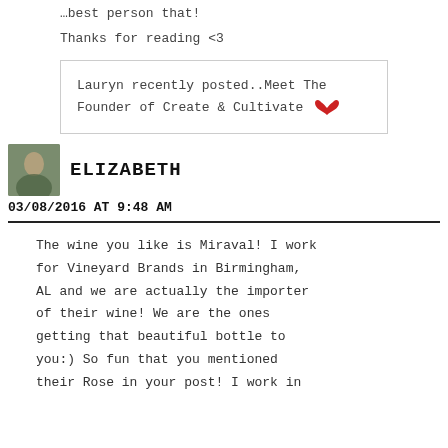…best person that!
Thanks for reading <3
Lauryn recently posted..Meet The Founder of Create & Cultivate 🐦
ELIZABETH
03/08/2016 AT 9:48 AM
The wine you like is Miraval! I work for Vineyard Brands in Birmingham, AL and we are actually the importer of their wine! We are the ones getting that beautiful bottle to you:) So fun that you mentioned their Rose in your post! I work in